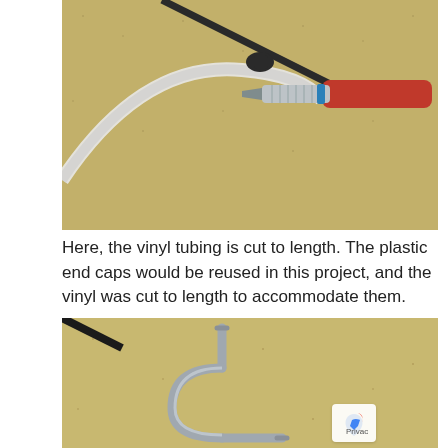[Figure (photo): Close-up photo of vinyl tubing being cut with a screwdriver/cutting tool on a textured beige surface. A black plastic end cap is visible on the tubing.]
Here, the vinyl tubing is cut to length. The plastic end caps would be reused in this project, and the vinyl was cut to length to accommodate them.
[Figure (photo): Close-up photo of a metal C-shaped hook or bracket lying on a beige textured surface.]